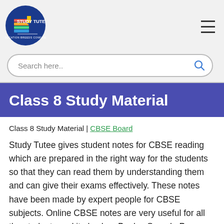[Figure (logo): Study Tutee logo — circular blue badge with stacked books icon and text 'STUDY TUTEE / EDUCATION BREEDS CONFIDENCE']
Search here..
Class 8 Study Material
Class 8 Study Material | CBSE Board
Study Tutee gives student notes for CBSE reading which are prepared in the right way for the students so that they can read them by understanding them and can give their exams effectively. These notes have been made by expert people for CBSE subjects. Online CBSE notes are very useful for all the students and it also has Books, Sample Papers, Questions Papers, NCERT Solutions, Important Questions,